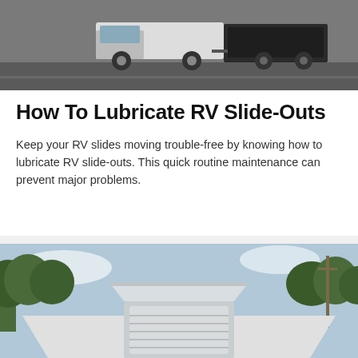[Figure (photo): Photograph of a white truck towing a dark travel trailer, parked on a gravel or paved area outdoors.]
How To Lubricate RV Slide-Outs
Keep your RV slides moving trouble-free by knowing how to lubricate RV slide-outs. This quick routine maintenance can prevent major problems.
[Figure (photo): Photograph of an RV roof vent or skylight with trees and sky visible in the background.]